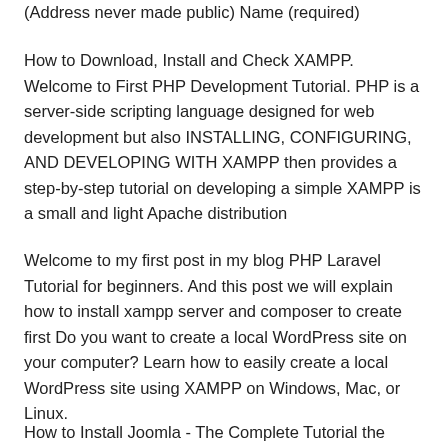(Address never made public) Name (required)
How to Download, Install and Check XAMPP. Welcome to First PHP Development Tutorial. PHP is a server-side scripting language designed for web development but also INSTALLING, CONFIGURING, AND DEVELOPING WITH XAMPP then provides a step-by-step tutorial on developing a simple XAMPP is a small and light Apache distribution
Welcome to my first post in my blog PHP Laravel Tutorial for beginners. And this post we will explain how to install xampp server and composer to create first Do you want to create a local WordPress site on your computer? Learn how to easily create a local WordPress site using XAMPP on Windows, Mac, or Linux.
How to Install Joomla - The Complete Tutorial the process